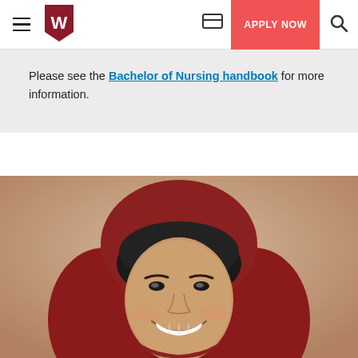University navigation bar with hamburger menu, W logo, chat icon, APPLY NOW button, and search icon
Please see the Bachelor of Nursing handbook for more information.
[Figure (photo): A smiling young woman wearing a dark red hijab with a black inner cap, photographed against a warm beige background. She is looking directly at the camera with a broad smile.]